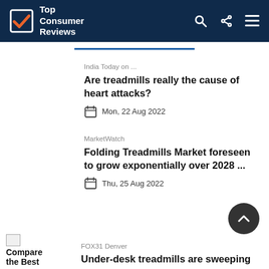Top Consumer Reviews
India Today on ...
Are treadmills really the cause of heart attacks?
Mon, 22 Aug 2022
MarketWatch
Folding Treadmills Market foreseen to grow exponentially over 2028 ...
Thu, 25 Aug 2022
FOX31 Denver
Under-desk treadmills are sweeping
Compare the Best